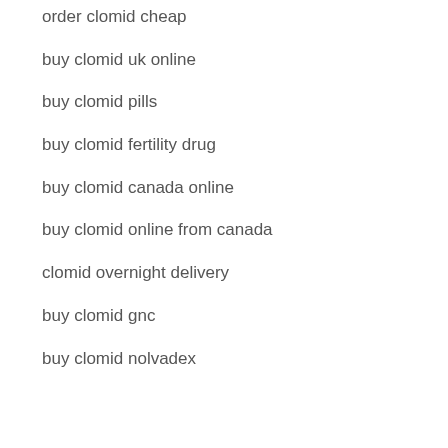order clomid cheap
buy clomid uk online
buy clomid pills
buy clomid fertility drug
buy clomid canada online
buy clomid online from canada
clomid overnight delivery
buy clomid gnc
buy clomid nolvadex